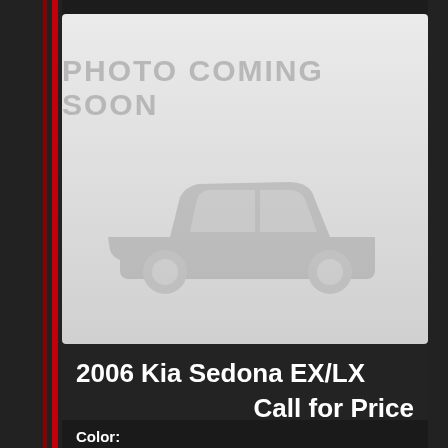[Figure (illustration): Photo coming soon placeholder with car silhouette on light gray background]
2006 Kia Sedona EX/LX
Call for Price
Color: